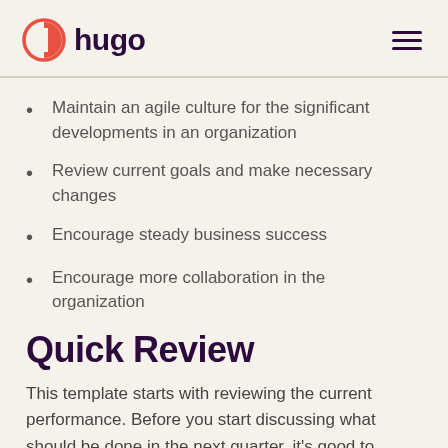hugo
Maintain an agile culture for the significant developments in an organization
Review current goals and make necessary changes
Encourage steady business success
Encourage more collaboration in the organization
Quick Review
This template starts with reviewing the current performance. Before you start discussing what should be done in the next quarter, it's good to